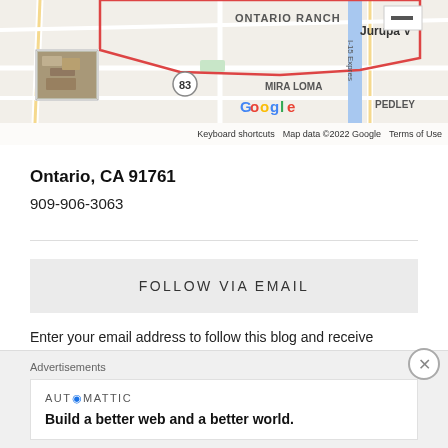[Figure (screenshot): Google Maps screenshot showing Ontario Ranch area in California. Labels visible: ONTARIO RANCH (red outline), Jurupa V, MIRA LOMA, PEDLEY, I-15 Express, route 83, Google logo, Keyboard shortcuts, Map data ©2022 Google, Terms of Use. Includes a small thumbnail photo inset in upper left and a zoom-out button in upper right.]
Ontario, CA 91761
909-906-3063
FOLLOW VIA EMAIL
Enter your email address to follow this blog and receive notifications of new posts by email.
Advertisements
AUTOMATTIC
Build a better web and a better world.